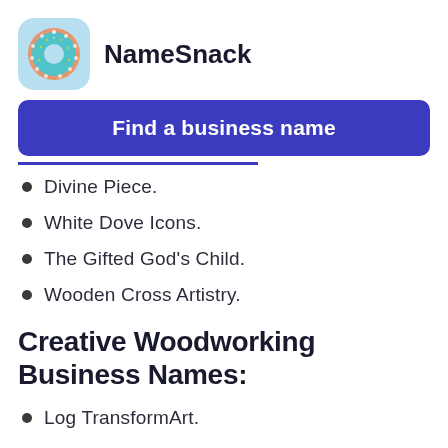[Figure (logo): NameSnack app logo: a donut-shaped icon with teal/blue colors on a light blue rounded square background]
NameSnack
Find a business name
Divine Piece.
White Dove Icons.
The Gifted God's Child.
Wooden Cross Artistry.
Creative Woodworking Business Names:
Log TransformArt.